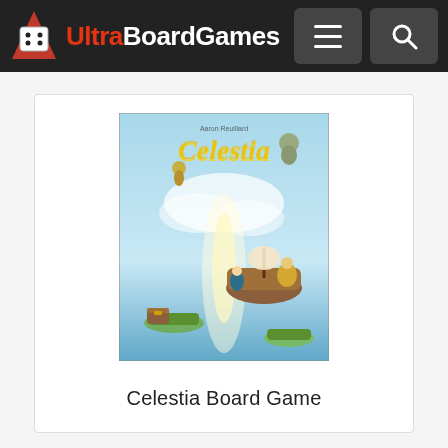Ultra BoardGames
[Figure (photo): Celestia board game box cover art showing fantasy floating ships and characters in a sky setting with the game title 'Celestia' in golden script]
Celestia Board Game